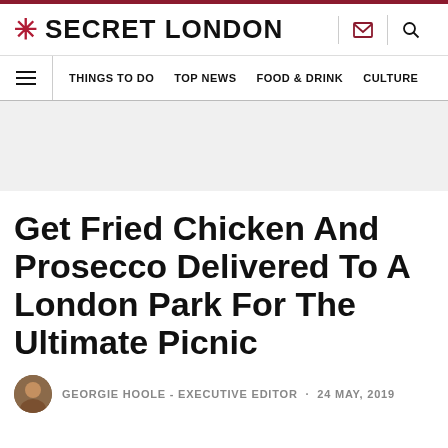SECRET LONDON
THINGS TO DO  TOP NEWS  FOOD & DRINK  CULTURE
Get Fried Chicken And Prosecco Delivered To A London Park For The Ultimate Picnic
GEORGIE HOOLE - EXECUTIVE EDITOR · 24 MAY, 2019